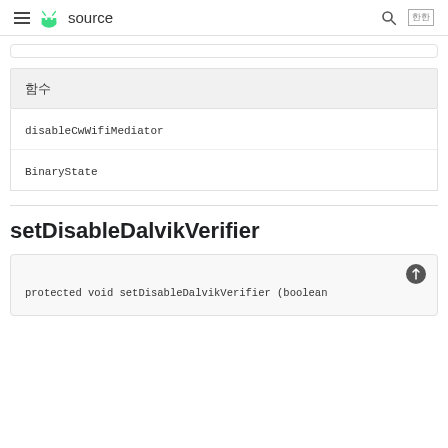≡ android source 🔍 [lang]
함수
| disableCwWifiMediator |
| BinaryState |
setDisableDalvikVerifier
protected void setDisableDalvikVerifier (boolean